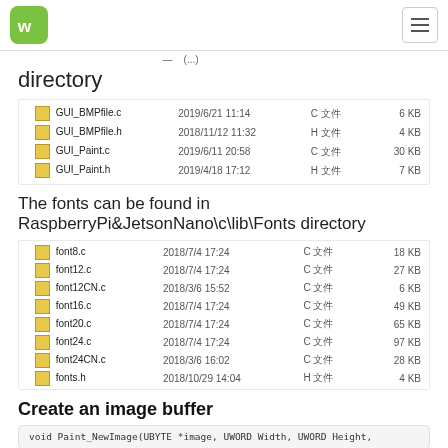directory
[Figure (screenshot): File listing showing GUI_BMPfile.c (2019/6/21 11:14, C文件, 6 KB), GUI_BMPfile.h (2018/11/12 11:32, H文件, 4 KB), GUI_Paint.c (2019/6/11 20:58, C文件, 30 KB), GUI_Paint.h (2019/4/18 17:12, H文件, 7 KB)]
The fonts can be found in
RaspberryPi&JetsonNano\c\lib\Fonts directory
[Figure (screenshot): File listing showing font8.c (2018/7/4 17:24, C文件, 18 KB), font12.c (2018/7/4 17:24, C文件, 27 KB), font12CN.c (2018/3/6 15:52, C文件, 6 KB), font16.c (2018/7/4 17:24, C文件, 49 KB), font20.c (2018/7/4 17:24, C文件, 65 KB), font24.c (2018/7/4 17:24, C文件, 97 KB), font24CN.c (2018/3/6 16:02, C文件, 28 KB), fonts.h (2018/10/29 14:04, H文件, 4 KB)]
Create an image buffer
void Paint_NewImage(UBYTE *image, UWORD Width, UWORD Height,